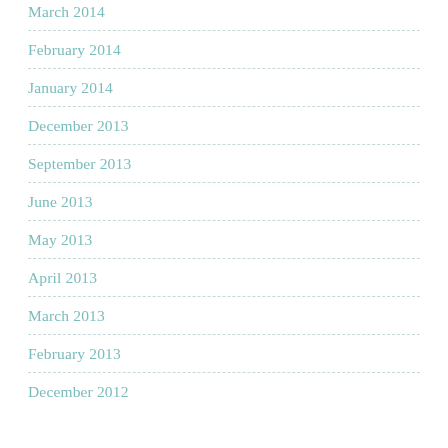March 2014
February 2014
January 2014
December 2013
September 2013
June 2013
May 2013
April 2013
March 2013
February 2013
December 2012